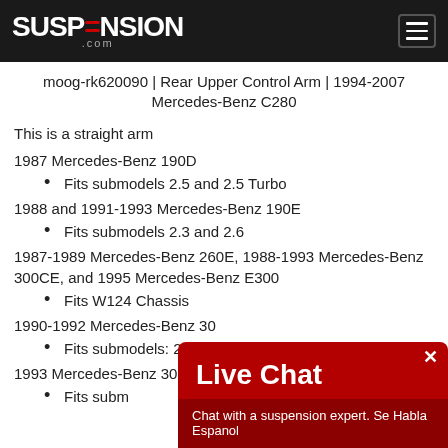SUSPENSION.com
moog-rk620090 | Rear Upper Control Arm | 1994-2007 Mercedes-Benz C280
This is a straight arm
1987 Mercedes-Benz 190D
Fits submodels 2.5 and 2.5 Turbo
1988 and 1991-1993 Mercedes-Benz 190E
Fits submodels 2.3 and 2.6
1987-1989 Mercedes-Benz 260E, 1988-1993 Mercedes-Benz 300CE, and 1995 Mercedes-Benz E300
Fits W124 Chassis
1990-1992 Mercedes-Benz 30
Fits submodels: 2.6, 4M
1993 Mercedes-Benz 300E
Fits subm
[Figure (other): Live Chat widget overlay with red background, showing 'Live Chat' title and 'Chat with a suspension expert. Se Habla Espanol' footer]